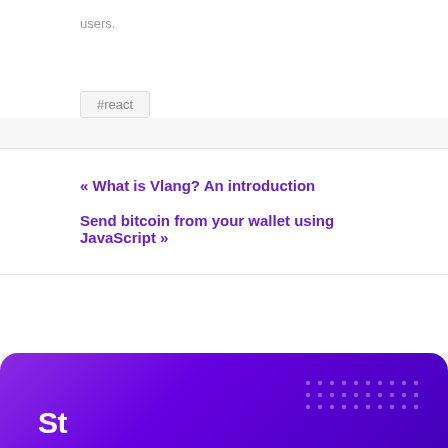users.
#react
« What is Vlang? An introduction
Send bitcoin from your wallet using JavaScript »
[Figure (illustration): Purple/violet gradient banner section at the bottom of the page with decorative dot pattern on the right side and large white bold text beginning to appear at the bottom.]